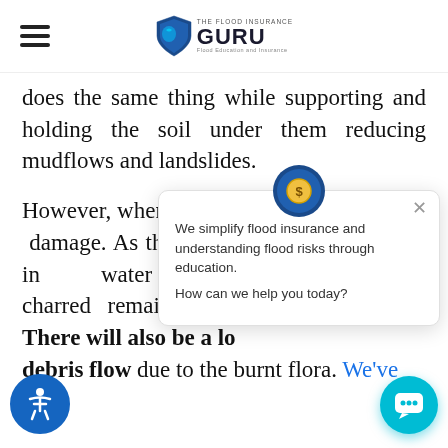THE FLOOD INSURANCE GURU — Flood Education and Insurance
does the same thing while supporting and holding the soil under them reducing mudflows and landslides.
However, when a [fire burns the flora, it strips] both of those thi[ngs and causes more] damage. As the [burnt vegetation] won't be able to take in water and all that charred remains will add to [flood]water. There will also be a lo[t of] debris flow due to the burnt flora. We've
[Figure (screenshot): Chat popup widget from The Flood Insurance Guru with avatar icon, close button, and message: 'We simplify flood insurance and understanding flood risks through education. How can we help you today?']
[Figure (screenshot): Teal circular chat button at bottom right]
[Figure (screenshot): Blue circular accessibility icon at bottom left]